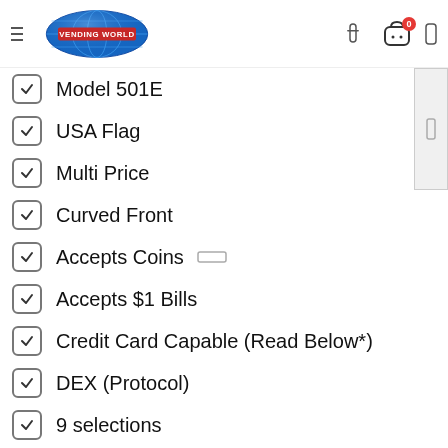Vending World — navigation header with logo, search, cart (0), user icon
Model 501E
USA Flag
Multi Price
Curved Front
Accepts Coins
Accepts $1 Bills
Credit Card Capable (Read Below*)
DEX (Protocol)
9 selections
471+ 12 oz Cans
New Sign
New Side Panels (partial)